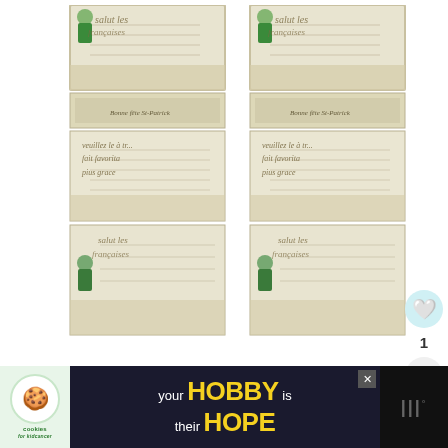[Figure (illustration): Two columns of vintage St. Patrick's Day printable tags/cards with cream/beige background, cursive script text, decorative borders, and Victorian-era children in green clothing holding shamrocks. Labels read 'FOR PERSONAL NONCOMMERCIAL USE ONLY', 'COPYRIGHT 2021', 'VINTAGESLAMSTUDIO.COM']
FOR PERSONAL NONCOMMERCIAL USE ONLY    COPYRIGHT 2021    VINTAGESLAMSTUDIO.COM
[Figure (infographic): Social sharing sidebar with heart/like button and share button, count of 1]
IMAGE CREDIT
[Figure (infographic): What's Next promotional box with smiley emoji and text 'February Project Life...']
Most images in this printable are original illustrations by Vintage Glam Studio and
[Figure (infographic): Advertisement banner: cookies for kidcancer - 'your HOBBY is their HOPE' with cookie/heart image]